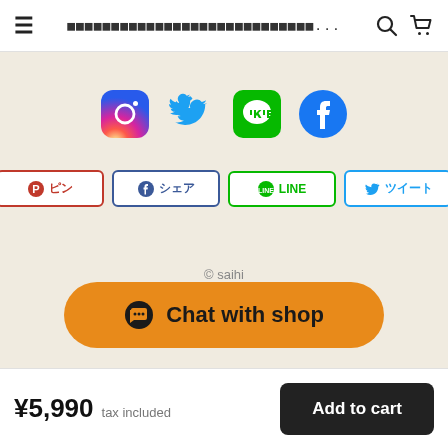≡  ????????????????????????????...  🔍  🛒
[Figure (infographic): Four social media icons in a row: Instagram (gradient purple/orange), Twitter (blue bird), LINE (green circle with chat icon), Facebook (blue circle with f)]
[Figure (infographic): Four share buttons in a row: Pinterest (ピン), Facebook (シェア), LINE (LINE), Twitter (ツイート)]
© saihi
Chat with shop
¥5,990  tax included
Add to cart